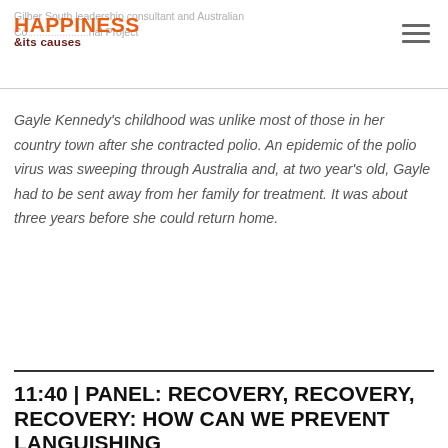Happiness & Its Causes | Gillber South leadership consultant and Australian Co... rial Project
Gayle Kennedy's childhood was unlike most of those in her country town after she contracted polio. An epidemic of the polio virus was sweeping through Australia and, at two year's old, Gayle had to be sent away from her family for treatment. It was about three years before she could return home.
11:40 | PANEL: RECOVERY, RECOVERY, RECOVERY: HOW CAN WE PREVENT LANGUISHING